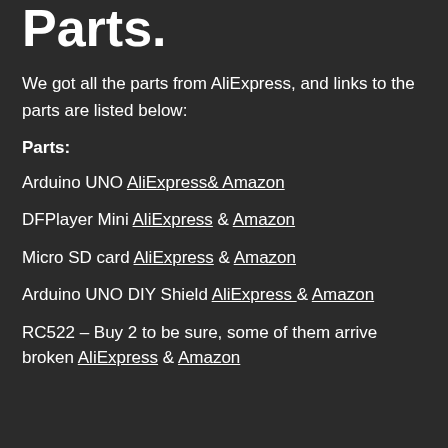Parts.
We got all the parts from AliExpress, and links to the parts are listed below:
Parts:
Arduino UNO AliExpress& Amazon
DFPlayer Mini AliExpress & Amazon
Micro SD card AliExpress & Amazon
Arduino UNO DIY Shield AliExpress & Amazon
RC522 – Buy 2 to be sure, some of them arrive broken AliExpress & Amazon